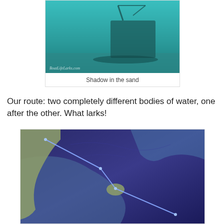[Figure (photo): Underwater photo showing a shipwreck shadow in the sand, with the watermark 'BoatLifeLarks.com']
Shadow in the sand
Our route: two completely different bodies of water, one after the other. What larks!
[Figure (map): Aerial/satellite map showing a sailing route marked with a blue line across two bodies of water near the Bahamas]